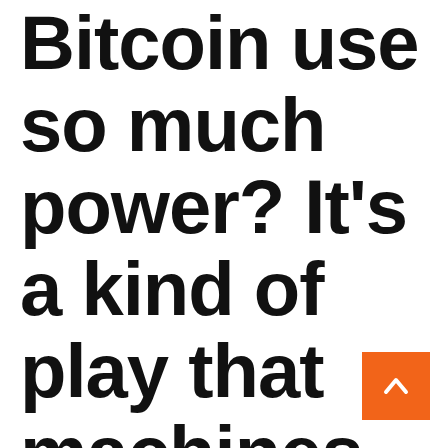Bitcoin use so much power? It's a kind of play that machines use most of the energy for